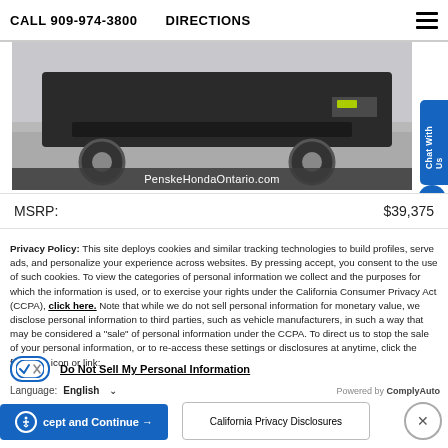CALL 909-974-3800   DIRECTIONS
[Figure (photo): Bottom portion of a dark SUV/truck vehicle, showing wheels and undercarriage, with PenskeHondaOntario.com watermark bar at bottom]
MSRP:  $39,375
Privacy Policy: This site deploys cookies and similar tracking technologies to build profiles, serve ads, and personalize your experience across websites. By pressing accept, you consent to the use of such cookies. To view the categories of personal information we collect and the purposes for which the information is used, or to exercise your rights under the California Consumer Privacy Act (CCPA), click here. Note that while we do not sell personal information for monetary value, we disclose personal information to third parties, such as vehicle manufacturers, in such a way that may be considered a "sale" of personal information under the CCPA. To direct us to stop the sale of your personal information, or to re-access these settings or disclosures at anytime, click the following icon or link:
Do Not Sell My Personal Information
Language:  English
Powered by ComplyAuto
Accept and Continue →
California Privacy Disclosures